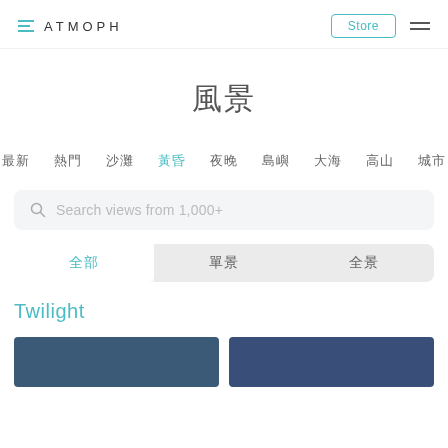ATMOPH
風景
最新　熱門　沙灘　黃昏　夜晚　島嶼　大海　高山　城市
Search views from 1,000+
全部　單景　全景
Twilight
[Figure (photo): Two thumbnail images of twilight scenes, side by side]